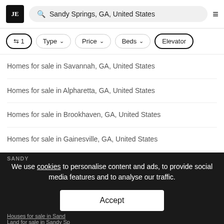JE | Sandy Springs, GA, United States
⇄ 1  Type ∨  Price ∨  Beds ∨  Elevator
Homes for sale in Savannah, GA, United States
Homes for sale in Alpharetta, GA, United States
Homes for sale in Brookhaven, GA, United States
Homes for sale in Gainesville, GA, United States
Homes for sale in Roswell, GA, United States
SHOW MORE ∨
We use cookies to personalise content and ads, to provide social media features and to analyse our traffic.
Accept